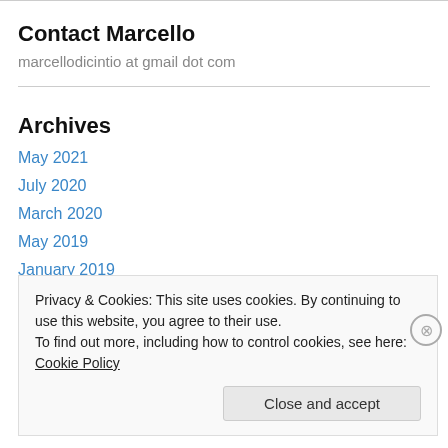Contact Marcello
marcellodicintio at gmail dot com
Archives
May 2021
July 2020
March 2020
May 2019
January 2019
Privacy & Cookies: This site uses cookies. By continuing to use this website, you agree to their use. To find out more, including how to control cookies, see here: Cookie Policy
Close and accept